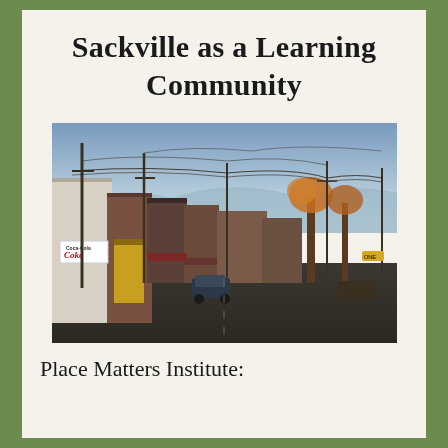Sackville as a Learning Community
[Figure (photo): Street-level photograph of a small town main street at dusk or late afternoon. Buildings line the left side, utility poles with wires crisscross the sky, a Coca-Cola sign is visible on one building, and a few cars are parked on the quiet road. Autumn trees are visible in the background.]
Place Matters Institute: